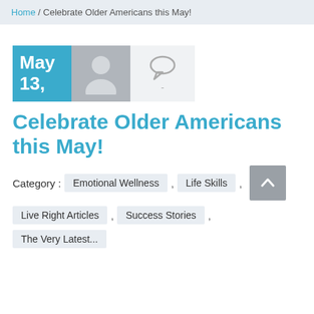Home / Celebrate Older Americans this May!
[Figure (illustration): Date box showing May 13, a grey avatar placeholder, and a comment bubble icon]
Celebrate Older Americans this May!
Category : Emotional Wellness , Life Skills , Live Right Articles , Success Stories , The Very Latest...